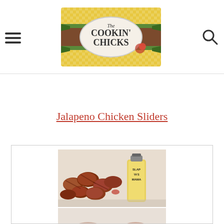The Cookin' Chicks
Jalapeno Chicken Sliders
[Figure (photo): Food photo showing bacon-wrapped jalapeno chicken sliders on a tray with a Slap Ya Mama seasoning bottle visible, and a second partial food photo below]